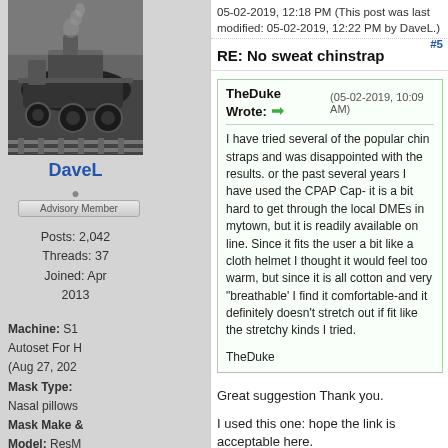[Figure (photo): Black and white photo of a steam locomotive]
DaveL
Advisory Member
Posts: 2,042
Threads: 37
Joined: Apr 2013
Machine: S1 Autoset For H (Aug 27, 202
Mask Type: Nasal pillows
Mask Make & Model: ResM P30i, N20/F& Evora Full Mistake
Humidifier:
05-02-2019, 12:18 PM (This post was last modified: 05-02-2019, 12:22 PM by DaveL.)  #5
RE: No sweat chinstrap
TheDuke Wrote: → (05-02-2019, 10:09 AM)
I have tried several of the popular chin straps and was disappointed with the results. or the past several years I have used the CPAP Cap- it is a bit hard to get through the local DMEs in mytown, but it is readily available on line. Since it fits the user a bit like a  cloth helmet I thought it would feel too warm, but since it is all cotton and very "breathable' I find it comfortable-and it definitely doesn't stretch out if fit like the stretchy kinds I tried.

TheDuke
Great suggestion Thank you.
I used this one: hope the link is acceptable here.